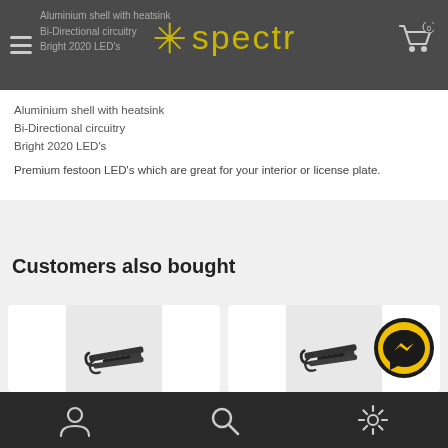spectr — Aluminium shell with heatsink, Bi-Directional circuitry, Bright 2020 LED's
Aluminium shell with heatsink
Bi-Directional circuitry
Bright 2020 LED's
Premium festoon LED's which are great for your interior or license plate.
Customers also bought
[Figure (photo): Dark automotive wiper blade arm component product photo on white/grey background]
[Figure (photo): Dark automotive wiper blade arm component product photo on white/grey background with Messenger chat icon overlay]
Navigation bar with user account, search, and settings icons